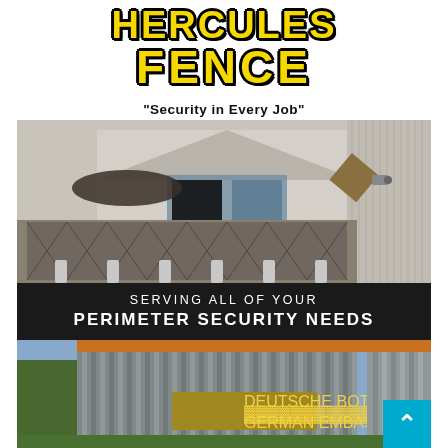[Figure (logo): Hercules Fence company logo with bold yellow text on black shadow/outline, company name in all caps]
"Security in Every Job"
[Figure (photo): Security fence and gate installation at what appears to be an embassy or secure facility, showing metal decorative gate with bollards and building behind]
[Figure (infographic): Black banner with white text reading 'SERVING ALL OF YOUR PERIMETER SECURITY NEEDS']
[Figure (photo): German Embassy secure perimeter gate installation showing heavy sliding metal gate panels with sign reading 'DEUTSCHE BOTSCHAFT GERMAN EMBASSY']